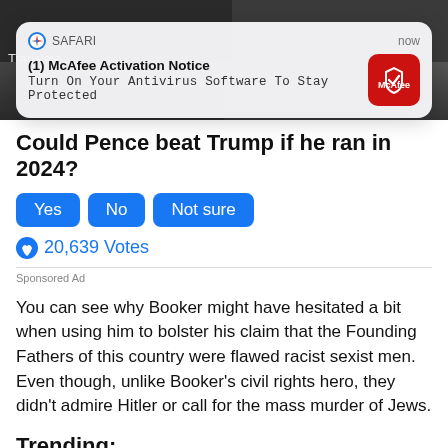[Figure (screenshot): Dark background image with two persons, partially visible, with 'Translate' label at top left]
[Figure (screenshot): iOS Safari push notification overlay: '(1) McAfee Activation Notice - Turn On Your Antivirus Software To Stay Protected' with McAfee red icon and 'now' timestamp]
Could Pence beat Trump if he ran in 2024?
[Figure (other): Poll buttons: Yes, No, Not sure (blue rounded buttons)]
20,639 Votes
Sponsored Ad
You can see why Booker might have hesitated a bit when using him to bolster his claim that the Founding Fathers of this country were flawed racist sexist men. Even though, unlike Booker's civil rights hero, they didn't admire Hitler or call for the mass murder of Jews.
Trending: